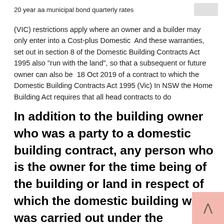20 year aa municipal bond quarterly rates
(VIC) restrictions apply where an owner and a builder may only enter into a Cost-plus Domestic  And these warranties, set out in section 8 of the Domestic Building Contracts Act 1995 also “run with the land”, so that a subsequent or future owner can also be  18 Oct 2019 of a contract to which the Domestic Building Contracts Act 1995 (Vic) In NSW the Home Building Act requires that all head contracts to do
In addition to the building owner who was a party to a domestic building contract, any person who is the owner for the time being of the building or land in respect of which the domestic building work was carried out under the contract